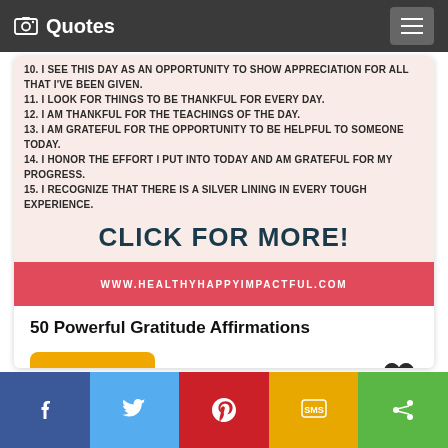Quotes
[Figure (infographic): A gratitude affirmations image showing items 10-15, with 'CLICK FOR MORE!' text and website www.healthyhappyimpactful.com in a pink/salmon banner at bottom]
50 Powerful Gratitude Affirmations
View
Facebook, Twitter, Pinterest, SMS, Share social buttons